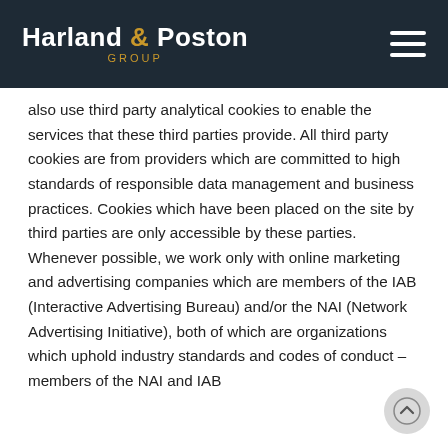Harland & Poston GROUP
also use third party analytical cookies to enable the services that these third parties provide. All third party cookies are from providers which are committed to high standards of responsible data management and business practices. Cookies which have been placed on the site by third parties are only accessible by these parties. Whenever possible, we work only with online marketing and advertising companies which are members of the IAB (Interactive Advertising Bureau) and/or the NAI (Network Advertising Initiative), both of which are organizations which uphold industry standards and codes of conduct – members of the NAI and IAB